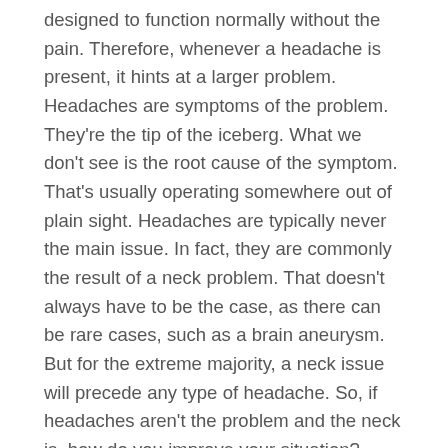designed to function normally without the pain. Therefore, whenever a headache is present, it hints at a larger problem. Headaches are symptoms of the problem. They're the tip of the iceberg. What we don't see is the root cause of the symptom. That's usually operating somewhere out of plain sight. Headaches are typically never the main issue. In fact, they are commonly the result of a neck problem. That doesn't always have to be the case, as there can be rare cases, such as a brain aneurysm. But for the extreme majority, a neck issue will precede any type of headache. So, if headaches aren't the problem and the neck is, how do you improve your situation? Well, step one is to confirm the neck is in fact the cause of the headaches. You can do that by having an